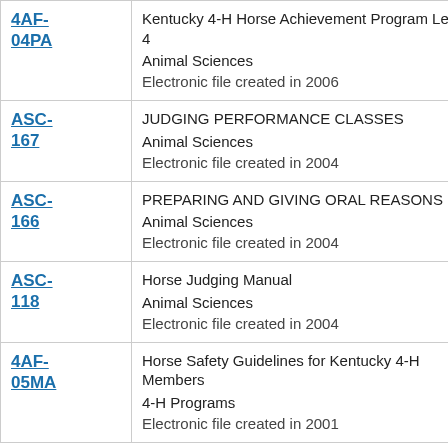| Code | Description |
| --- | --- |
| 4AF-04PA | Kentucky 4-H Horse Achievement Program Level 4
Animal Sciences
Electronic file created in 2006 |
| ASC-167 | JUDGING PERFORMANCE CLASSES
Animal Sciences
Electronic file created in 2004 |
| ASC-166 | PREPARING AND GIVING ORAL REASONS
Animal Sciences
Electronic file created in 2004 |
| ASC-118 | Horse Judging Manual
Animal Sciences
Electronic file created in 2004 |
| 4AF-05MA | Horse Safety Guidelines for Kentucky 4-H Members
4-H Programs
Electronic file created in 2001 |